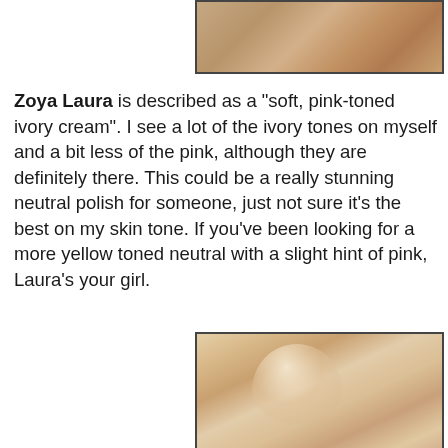[Figure (photo): Close-up photo of fingers/nails with a pinkish-ivory cream nail polish, partial view at the top of the page]
Zoya Laura is described as a "soft, pink-toned ivory cream". I see a lot of the ivory tones on myself and a bit less of the pink, although they are definitely there. This could be a really stunning neutral polish for someone, just not sure it's the best on my skin tone. If you've been looking for a more yellow toned neutral with a slight hint of pink, Laura's your girl.
[Figure (photo): Close-up macro photo of a fingernail painted with Zoya Laura nail polish, showing a soft pinkish-ivory cream color with a glossy finish]